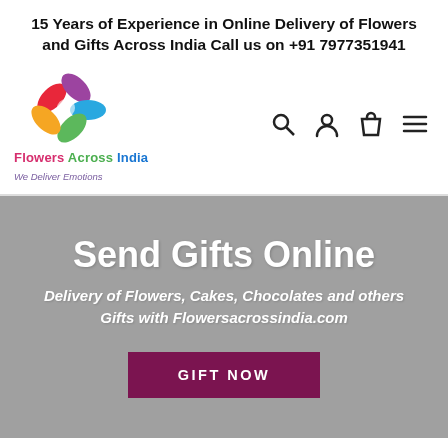15 Years of Experience in Online Delivery of Flowers and Gifts Across India Call us on +91 7977351941
[Figure (logo): Flowers Across India logo with colorful pinwheel flower and text 'Flowers Across India - We Deliver Emotions']
Send Gifts Online
Delivery of Flowers, Cakes, Chocolates and others Gifts with Flowersacrossindia.com
GIFT NOW